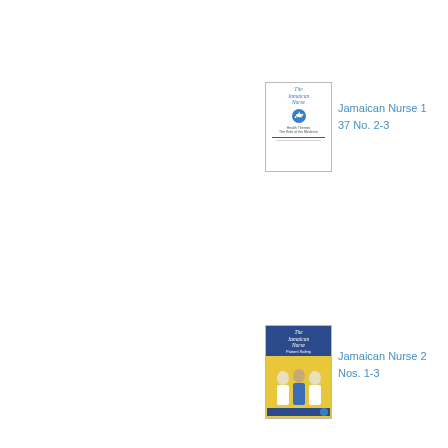[Figure (photo): Cover of The Jamaican Nurse journal, Vol 37 No. 2-3, white background with blue script title and circular logo]
Jamaican Nurse 1
37 No. 2-3
[Figure (photo): Cover of The Jamaican Nurse journal featuring three nurses/medical staff on yellow background with dark blue header - Patient Safety issue, Nos. 1-3]
Jamaican Nurse 2
Nos. 1-3
[Figure (photo): Black and white photograph of a lecture hall with chandelier, audience seated watching a presentation - Professor Gerrit delivering a lecture at Medical Lecture Theatre]
Professor Gerrit B
delivering a lectu
Medical Lecture T
[Figure (photo): Black and white photograph of a building exterior]